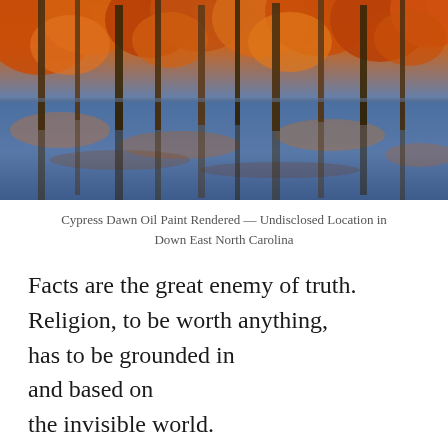[Figure (illustration): Oil paint rendered photograph of cypress trees at dawn reflected in still water, with orange and golden foliage at top and blue water reflections below, at an undisclosed location in Down East North Carolina.]
Cypress Dawn Oil Paint Rendered — Undisclosed Location in Down East North Carolina
Facts are the great enemy of truth. Religion, to be worth anything, has to be grounded in and based on the invisible world. What world would that be these days?